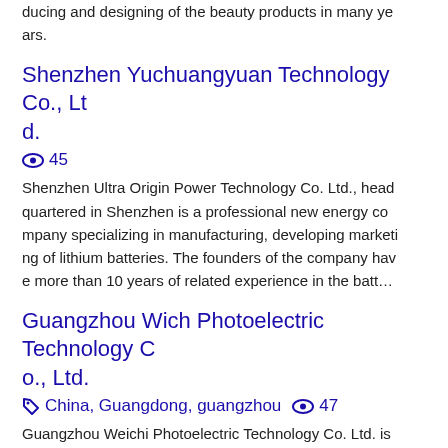ducing and designing of the beauty products in many years.
Shenzhen Yuchuangyuan Technology Co., Ltd.
👁 45
Shenzhen Ultra Origin Power Technology Co. Ltd., headquartered in Shenzhen is a professional new energy company specializing in manufacturing, developing marketing of lithium batteries. The founders of the company have more than 10 years of related experience in the batt…
Guangzhou Wich Photoelectric Technology Co., Ltd.
🏷 China, Guangdong, guangzhou 👁 47
Guangzhou Weichi Photoelectric Technology Co. Ltd. is a professional research and development, production and design of photoelectric instrument products. The...